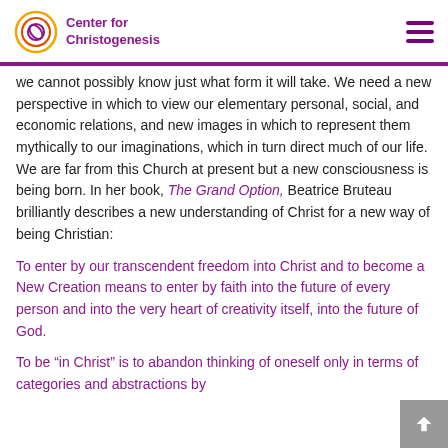Center for Christogenesis
we cannot possibly know just what form it will take. We need a new perspective in which to view our elementary personal, social, and economic relations, and new images in which to represent them mythically to our imaginations, which in turn direct much of our life.  We are far from this Church at present but a new consciousness is being born. In her book, The Grand Option, Beatrice Bruteau brilliantly describes a new understanding of Christ for a new way of being Christian:
To enter by our transcendent freedom into Christ and to become a New Creation means to enter by faith into the future of every person and into the very heart of creativity itself, into the future of God.
To be “in Christ” is to abandon thinking of oneself only in terms of categories and abstractions by